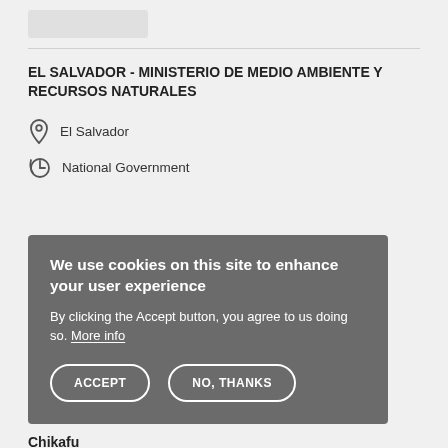[Figure (logo): Logo placeholder rectangle]
EL SALVADOR - MINISTERIO DE MEDIO AMBIENTE Y RECURSOS NATURALES
El Salvador
National Government
We use cookies on this site to enhance your user experience
By clicking the Accept button, you agree to us doing so. More info
ACCEPT  NO, THANKS
Chikafu